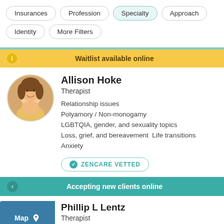Insurances
Profession
Specialty
Approach
Identity
More Filters
Waitlist available online
Allison Hoke
Therapist
Relationship issues
Polyamory / Non-monogamy
LGBTQIA, gender, and sexuality topics
Loss, grief, and bereavement  Life transitions
Anxiety
ZENCARE VETTED
Accepting new clients online
Phillip L Lentz
Therapist